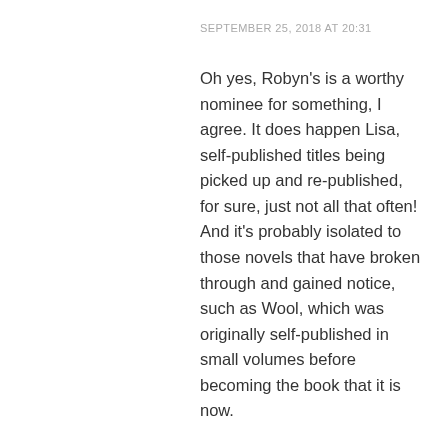SEPTEMBER 25, 2018 AT 20:31
Oh yes, Robyn's is a worthy nominee for something, I agree. It does happen Lisa, self-published titles being picked up and re-published, for sure, just not all that often! And it's probably isolated to those novels that have broken through and gained notice, such as Wool, which was originally self-published in small volumes before becoming the book that it is now.